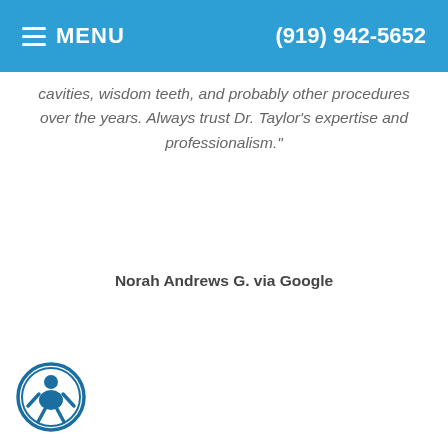≡ MENU   (919) 942-5652
cavities, wisdom teeth, and probably other procedures over the years. Always trust Dr. Taylor's expertise and professionalism."
Norah Andrews G. via Google